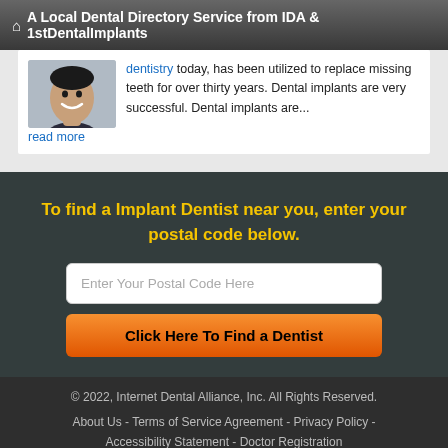A Local Dental Directory Service from IDA & 1stDentalImplants
dentistry today, has been utilized to replace missing teeth for over thirty years. Dental implants are very successful. Dental implants are... read more
To find a Implant Dentist near you, enter your postal code below.
Enter Your Postal Code Here
Click Here To Find a Dentist
© 2022, Internet Dental Alliance, Inc. All Rights Reserved.
About Us - Terms of Service Agreement - Privacy Policy - Accessibility Statement - Doctor Registration